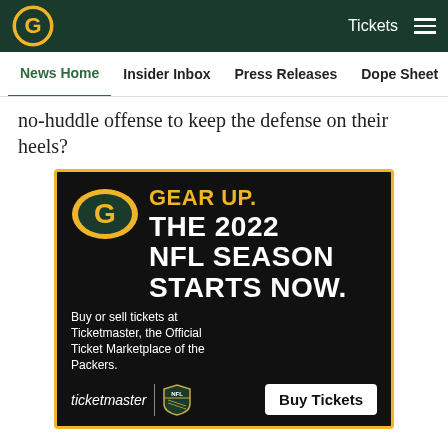Green Bay Packers — Tickets navigation bar
News Home | Insider Inbox | Press Releases | Dope Sheet | Game...
no-huddle offense to keep the defense on their heels?
[Figure (advertisement): Green Bay Packers / Ticketmaster advertisement. GEAR UP. THE 2022 NFL SEASON STARTS NOW. Buy or sell tickets at Ticketmaster, the Official Ticket Marketplace of the Packers. ticketmaster | NFL logo | Buy Tickets button.]
[Figure (other): Social sharing icons: Facebook, Twitter, Email, Link/copy]